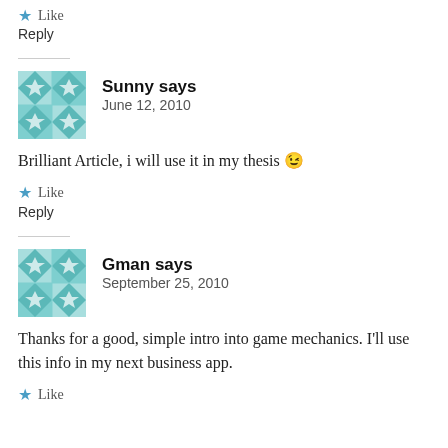★ Like
Reply
Sunny says
June 12, 2010
Brilliant Article, i will use it in my thesis 😉
★ Like
Reply
Gman says
September 25, 2010
Thanks for a good, simple intro into game mechanics. I'll use this info in my next business app.
★ Like